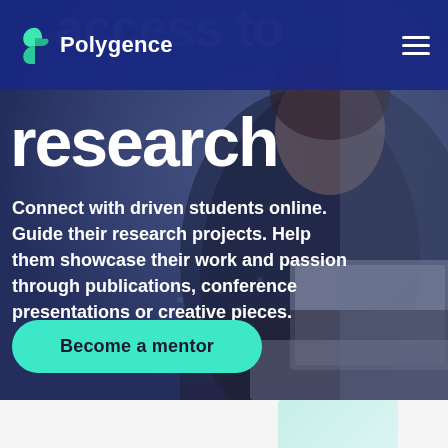[Figure (screenshot): Polygence website hero section screenshot. Dark blue/navy header navigation bar with Polygence logo (green leaf/arrow icon) on left and hamburger menu on right. Background shows a smiling woman in a dark polka dot blouse working on a laptop. Ghost text 'access to' visible behind the header. Large white bold 'research' heading below nav. Body text in white bold font. Teal/turquoise 'Become a mentor' call-to-action button. White section at bottom.]
Polygence
research
Connect with driven students online. Guide their research projects. Help them showcase their work and passion through publications, conference presentations or creative pieces.
Become a mentor